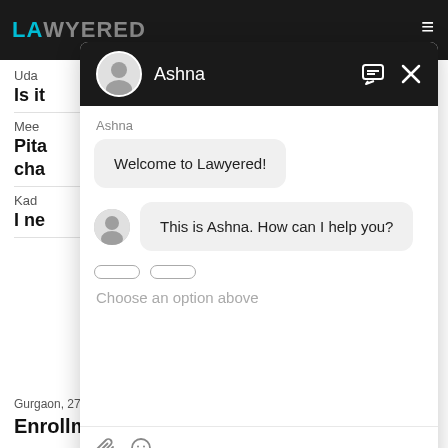[Figure (screenshot): Screenshot of the Lawyered website with a chat widget overlay. The chat widget shows a conversation with Ashna, a legal assistant. The header background is dark/black with Ashna's name and avatar. Chat messages include 'Welcome to Lawyered!' and 'This is Ashna. How can I help you?' with a text input area showing 'Choose an option above'. Background page content shows partial text including 'Is it', 'Meet', 'Pita', 'cha', 'Kad', 'I ne', location 'Gurgaon, 27 Sep, 2021, (11 months ago)' and bold heading 'Enrollment in Bar Council after LLM'.]